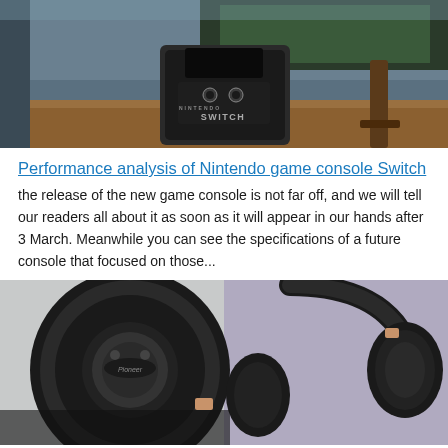[Figure (photo): Nintendo Switch console docked on a wooden surface in front of a TV screen, with the Nintendo Switch logo visible on the dock.]
Performance analysis of Nintendo game console Switch
the release of the new game console is not far off, and we will tell our readers all about it as soon as it will appear in our hands after 3 March. Meanwhile you can see the specifications of a future console that focused on those...
[Figure (photo): Pioneer brand over-ear headphones in black with rose gold accents, shown from multiple angles against a light purple and white background.]